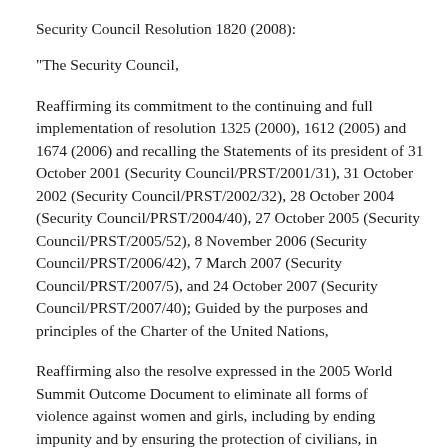Security Council Resolution 1820 (2008):
"The Security Council,
Reaffirming its commitment to the continuing and full implementation of resolution 1325 (2000), 1612 (2005) and 1674 (2006) and recalling the Statements of its president of 31 October 2001 (Security Council/PRST/2001/31), 31 October 2002 (Security Council/PRST/2002/32), 28 October 2004 (Security Council/PRST/2004/40), 27 October 2005 (Security Council/PRST/2005/52), 8 November 2006 (Security Council/PRST/2006/42), 7 March 2007 (Security Council/PRST/2007/5), and 24 October 2007 (Security Council/PRST/2007/40); Guided by the purposes and principles of the Charter of the United Nations,
Reaffirming also the resolve expressed in the 2005 World Summit Outcome Document to eliminate all forms of violence against women and girls, including by ending impunity and by ensuring the protection of civilians, in